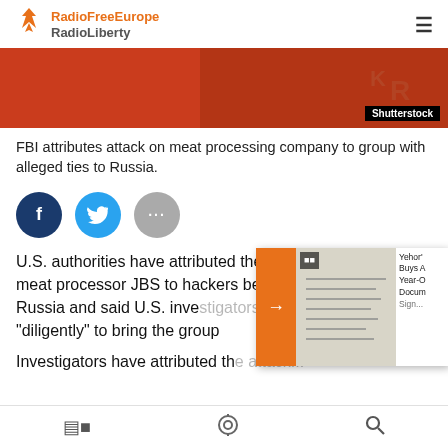RadioFreeEurope RadioLiberty
[Figure (photo): Close-up photo of coins with a Shutterstock watermark badge in the bottom right corner]
FBI attributes attack on meat processing company to group with alleged ties to Russia.
[Figure (infographic): Social media share buttons: Facebook (dark blue circle with f), Twitter (teal circle with bird icon), More options (gray circle with ...)]
U.S. authorities have attributed the attack on Brazil-based meat processor JBS to hackers believed to be tied to Russia and said U.S. inve... "diligently" to bring the group...
Investigators have attributed th...
[Figure (screenshot): Overlay showing orange arrow button, video thumbnail with notebook image, and partial sidebar text: Yehor'... Buys A... Year-O... Docum... Sign...]
Video icon | Podcast icon | Search icon